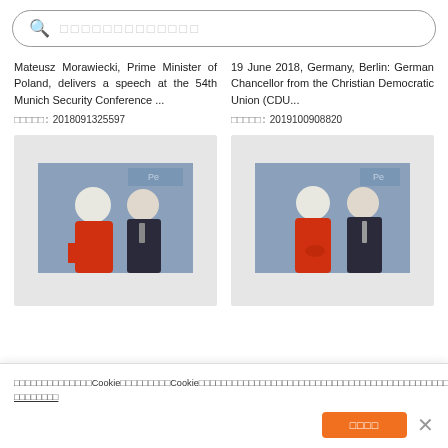[Figure (screenshot): Search bar with magnifying glass icon and placeholder text in CJK characters]
Mateusz Morawiecki, Prime Minister of Poland, delivers a speech at the 54th Munich Security Conference ...
19 June 2018, Germany, Berlin: German Chancellor from the Christian Democratic Union (CDU...
□□□□□: 2018091325597
□□□□□: 2019100908820
[Figure (photo): Photo of Angela Merkel in red jacket and Mateusz Morawiecki in dark suit standing together, blue backdrop]
[Figure (photo): Photo of Angela Merkel in red jacket and Mateusz Morawiecki in dark suit standing together at press conference, blue backdrop]
□□□□□□□□□□□□□□Cookie□□□□□□□□□Cookie□□□□□□□□□□□□□□□□□□□□□□□□□□□□□□□□□□□□□□□□□□□□□□□□□□□□□□□□□□□Cookie□□□□□□□□□□□□□□□□□□ □□□□□□□□